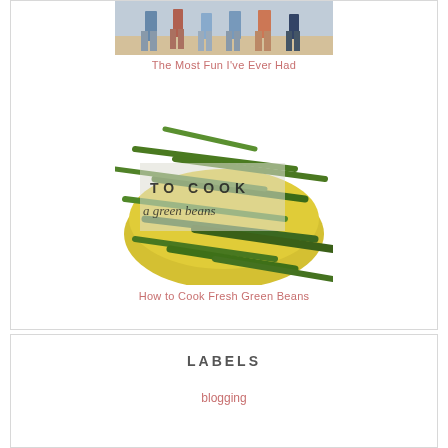[Figure (photo): Photo of children's legs/feet standing together outdoors]
The Most Fun I've Ever Had
[Figure (photo): Photo of fresh green beans in a yellow bowl with text overlay reading 'TO COOK green beans']
How to Cook Fresh Green Beans
LABELS
blogging